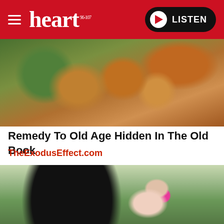heart 96-107 | LISTEN
[Figure (photo): Close-up photo of hands holding seeds or small objects, with green and orange background]
Remedy To Old Age Hidden In The Old Book
TheExodusEffect.com
[Figure (photo): A smiling man wearing sunglasses and a black cap posing with a young girl who has a pink bow in her hair, outdoors with a truck and lawn in the background]